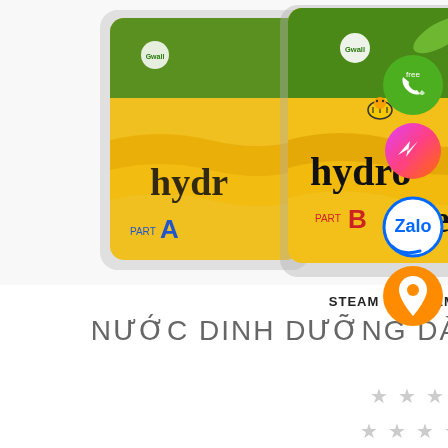[Figure (photo): Two Hydro Bee nutrient solution bottles/packages (Part A and Part B) by Gwall brand, showing yellow-gold packaging with a cartoon bee, cucumbers, and green leaves. Product for hydroponic vegetables.]
STEAM KIT, STEM VINAPONICS
NƯỚC DINH DƯỠNG DÀNH CHO RAU CỦ QUẢ
[Figure (other): Four empty star rating icons in a row]
[Figure (other): Four empty star rating icons with an info icon]
[Figure (other): Sidebar social icons: phone (green), Messenger (gradient), Zalo (blue), location pin (orange)]